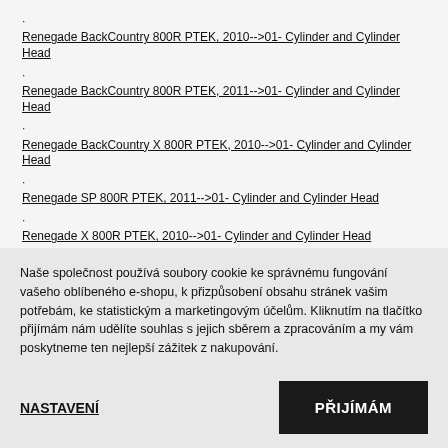·
Renegade BackCountry 800R PTEK, 2010-->01- Cylinder and Cylinder Head
·
Renegade BackCountry 800R PTEK, 2011-->01- Cylinder and Cylinder Head
·
Renegade BackCountry X 800R PTEK, 2010-->01- Cylinder and Cylinder Head
·
Renegade SP 800R PTEK, 2011-->01- Cylinder and Cylinder Head
·
Renegade X 800R PTEK, 2010-->01- Cylinder and Cylinder Head
·
Skandic 500/600, 2002-->01- Cylinder, Exhaust Manifold (593)
Naše společnost používá soubory cookie ke správnému fungování vašeho oblíbeného e-shopu, k přizpůsobení obsahu stránek vašim potřebám, ke statistickým a marketingovým účelům. Kliknutím na tlačítko přijímám nám udělíte souhlas s jejich sběrem a zpracováním a my vám poskytneme ten nejlepší zážitek z nakupování.
NASTAVENÍ
PŘIJÍMÁM